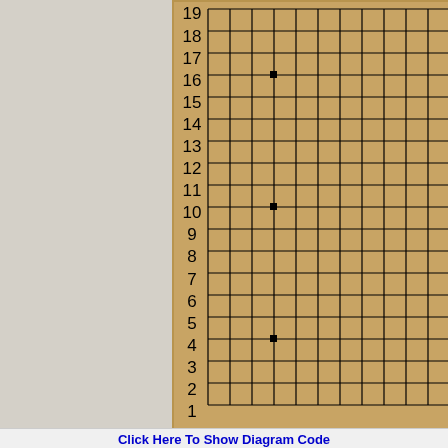[Figure (other): A Go game board (goban) showing a 19x19 grid with orange/wood-colored background. Row numbers 1-18 are visible on the left side. Star points (hoshi) are marked with small black squares at positions corresponding to standard Go board points. The board is partially cropped on the right side. The left portion of the page is a gray sidebar.]
Click Here To Show Diagram Code